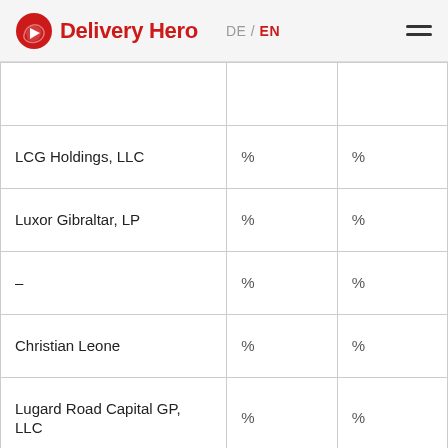Delivery Hero  DE / EN
|  |  |  |
| --- | --- | --- |
|  |  |  |
| LCG Holdings, LLC | % | % |
| Luxor Gibraltar, LP | % | % |
| – | % | % |
| Christian Leone | % | % |
| Lugard Road Capital GP, LLC | % | % |
| Lugard Road Capital, LP | % | % |
|  |  |  |